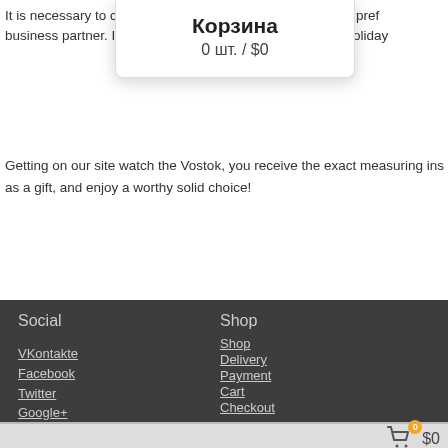It is necessary to c... and prefer... business partner. It... y holiday
[Figure (screenshot): Popup cart dialog showing 'Корзина' (Cart) with '0 шт. / $0']
Getting on our site watch the Vostok, you receive the exact measuring ins... as a gift, and enjoy a worthy solid choice!
Social
VKontakte
Facebook
Twitter
Google+
Shop
Shop
Delivery
Payment
Cart
Checkout
$0